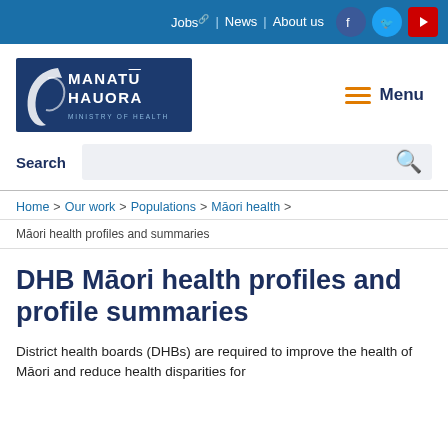Jobs | News | About us
[Figure (logo): Manatū Hauora Ministry of Health logo — dark navy background with white swoosh and text]
Menu
Search
Home > Our work > Populations > Māori health >
Māori health profiles and summaries
DHB Māori health profiles and profile summaries
District health boards (DHBs) are required to improve the health of Māori and reduce health disparities for